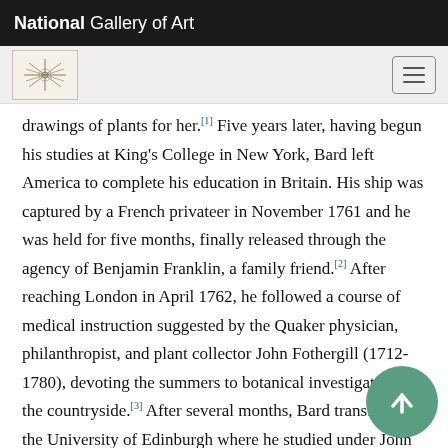National Gallery of Art
drawings of plants for her.[1] Five years later, having begun his studies at King's College in New York, Bard left America to complete his education in Britain. His ship was captured by a French privateer in November 1761 and he was held for five months, finally released through the agency of Benjamin Franklin, a family friend.[2] After reaching London in April 1762, he followed a course of medical instruction suggested by the Quaker physician, philanthropist, and plant collector John Fothergill (1712-1780), devoting the summers to botanical investigations in the countryside.[3] After several months, Bard transferred to the University of Edinburgh where he studied under John Hope (1725 –